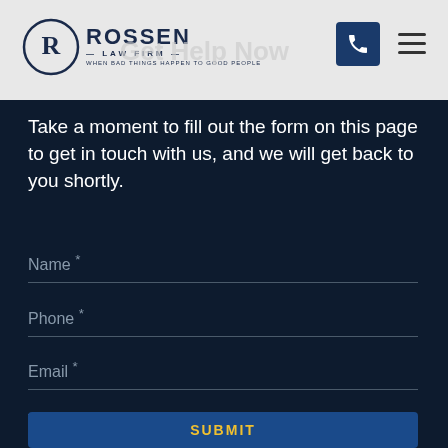[Figure (logo): Rossen Law Firm logo with circular R emblem and text 'ROSSEN LAW FIRM - When Bad Things Happen to Good People']
Take a moment to fill out the form on this page to get in touch with us, and we will get back to you shortly.
Name *
Phone *
Email *
Tell us more.
SUBMIT